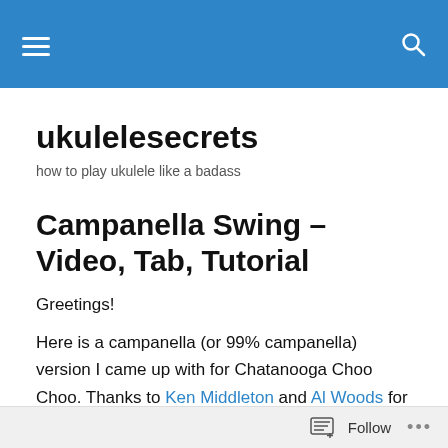[Navigation bar with hamburger menu and search icon]
ukulelesecrets
how to play ukulele like a badass
Campanella Swing – Video, Tab, Tutorial
Greetings!
Here is a campanella (or 99% campanella) version I came up with for Chatanooga Choo Choo. Thanks to Ken Middleton and Al Woods for taking the time to look over
Follow ...